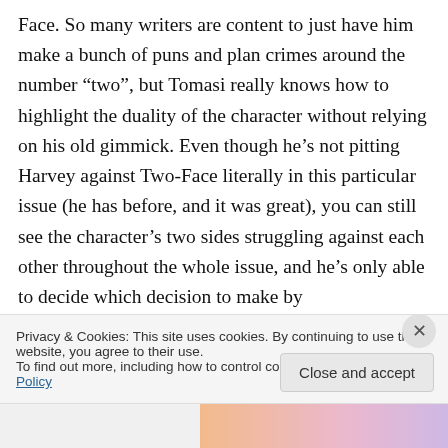Face. So many writers are content to just have him make a bunch of puns and plan crimes around the number “two”, but Tomasi really knows how to highlight the duality of the character without relying on his old gimmick. Even though he’s not pitting Harvey against Two-Face literally in this particular issue (he has before, and it was great), you can still see the character’s two sides struggling against each other throughout the whole issue, and he’s only able to decide which decision to make by
Privacy & Cookies: This site uses cookies. By continuing to use this website, you agree to their use.
To find out more, including how to control cookies, see here: Cookie Policy